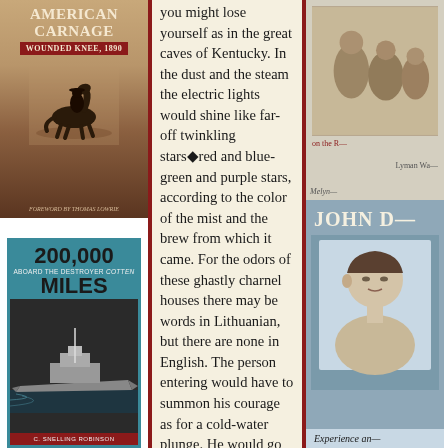[Figure (photo): Book cover: American Carnage, Wounded Knee 1890 - showing horseman silhouette against warm brown/orange background]
[Figure (photo): Book cover: 200,000 Miles Aboard the Destroyer Cotten by C. Snelling Robinson - showing naval destroyer ship in black and white]
you might lose yourself as in the great caves of Kentucky. In the dust and the steam the electric lights would shine like far-off twinkling stars—red and blue-green and purple stars, according to the color of the mist and the brew from which it came. For the odors of these ghastly charnel houses there may be words in Lithuanian, but there are none in English. The person entering would have to summon his courage as for a cold-water plunge. He would go in like a man swimming under water; he would put his handkerchief over his face, and begin to cough and choke; and then, if he were still obstinate, he would find his head beginning to ring, and the veins in his forehead to throb, until finally he would be assailed by an overpowering blast of ammonia fumes, and would
[Figure (photo): Partial book cover - right top, showing old photograph of people, text partially visible including 'on the' and author name Lyman]
[Figure (photo): Partial book cover - John D... showing blue cover with portrait illustration and text 'Experience an...']